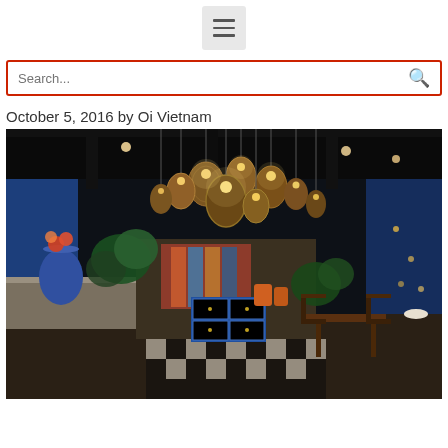[Figure (other): Hamburger menu icon button]
Search...
October 5, 2016 by Oi Vietnam
[Figure (photo): Interior of a Vietnamese restaurant with wicker hanging lamps, tropical plants, wooden furniture, blue painted dresser, and checkered tile floor photographed at night]